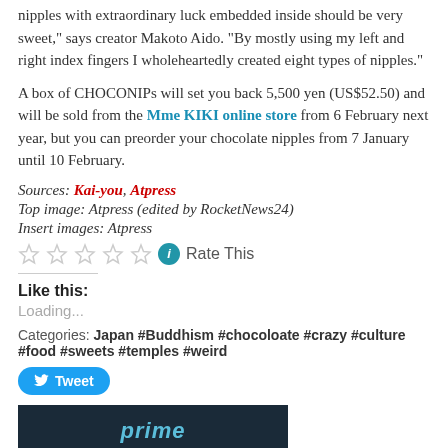nipples with extraordinary luck embedded inside should be very sweet," says creator Makoto Aido. "By mostly using my left and right index fingers I wholeheartedly created eight types of nipples."
A box of CHOCONIPs will set you back 5,500 yen (US$52.50) and will be sold from the Mme KIKI online store from 6 February next year, but you can preorder your chocolate nipples from 7 January until 10 February.
Sources: Kai-you, Atpress
Top image: Atpress (edited by RocketNews24)
Insert images: Atpress
Rate This
Like this:
Loading...
Categories: Japan #Buddhism #chocoloate #crazy #culture #food #sweets #temples #weird
[Figure (other): Amazon Prime banner with dark background and blue 'prime' text]